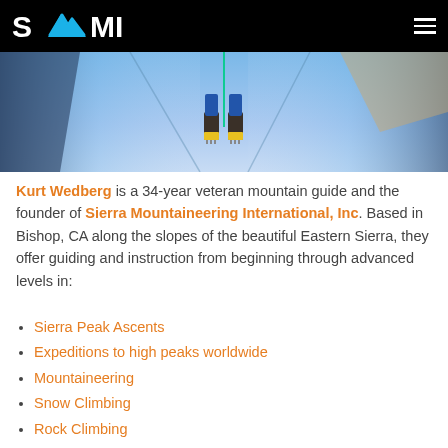SMI logo and navigation menu
[Figure (photo): Close-up aerial view of a mountain climber's feet with crampons on steep snowy slope, blue-tinted snow and shadows visible]
Kurt Wedberg is a 34-year veteran mountain guide and the founder of Sierra Mountaineering International, Inc. Based in Bishop, CA along the slopes of the beautiful Eastern Sierra, they offer guiding and instruction from beginning through advanced levels in:
Sierra Peak Ascents
Expeditions to high peaks worldwide
Mountaineering
Snow Climbing
Rock Climbing
Ice Climbing